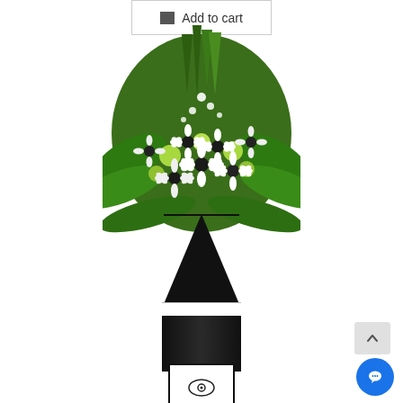[Figure (screenshot): Add to cart button at top center with shopping cart icon]
[Figure (photo): A tall funeral/condolence flower stand with white gerbera daisies, white and green flowers in a lush round arrangement on top of a tall black vase/stand with a white band in the middle and a white card holder at the base]
[Figure (other): Scroll to top button and chat bubble button in bottom right corner]